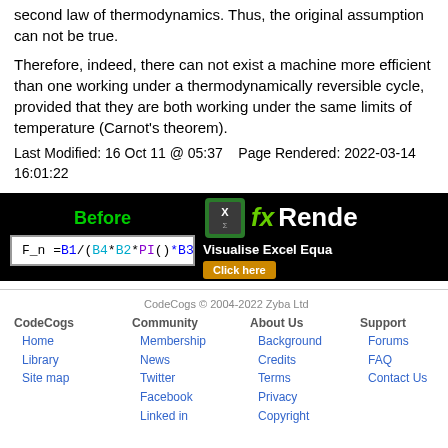second law of thermodynamics. Thus, the original assumption can not be true.
Therefore, indeed, there can not exist a machine more efficient than one working under a thermodynamically reversible cycle, provided that they are both working under the same limits of temperature (Carnot's theorem).
Last Modified: 16 Oct 11 @ 05:37    Page Rendered: 2022-03-14 16:01:22
[Figure (screenshot): Advertisement banner with black background showing 'Before' label in green, a formula 'F_n =B1/(B4*B2*PI()*B3)' on white background, and 'fx Rende... Visualise Excel Equa... Click here' on the right side]
CodeCogs  Community  CodeCogs © 2004-2022 Zyba Ltd  Home  Membership  About Us  Support  Library  News  Background  Forums  Site map  Twitter  Credits  FAQ  Facebook  Terms  Contact Us  Linked in  Privacy  Copyright